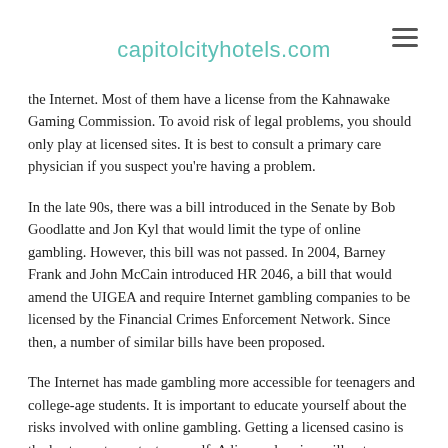capitolcityhotels.com
the Internet. Most of them have a license from the Kahnawake Gaming Commission. To avoid risk of legal problems, you should only play at licensed sites. It is best to consult a primary care physician if you suspect you're having a problem.
In the late 90s, there was a bill introduced in the Senate by Bob Goodlatte and Jon Kyl that would limit the type of online gambling. However, this bill was not passed. In 2004, Barney Frank and John McCain introduced HR 2046, a bill that would amend the UIGEA and require Internet gambling companies to be licensed by the Financial Crimes Enforcement Network. Since then, a number of similar bills have been proposed.
The Internet has made gambling more accessible for teenagers and college-age students. It is important to educate yourself about the risks involved with online gambling. Getting a licensed casino is the best way to protect yourself. A licensed casino will not discriminate between people of different backgrounds, so the same is true with online gambling. You can also visit a local casino if